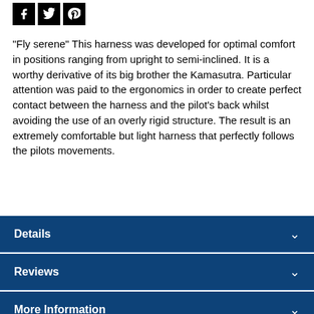[Figure (illustration): Social media share icons: Facebook, Twitter, Pinterest — black square icons with white logos]
"Fly serene" This harness was developed for optimal comfort in positions ranging from upright to semi-inclined. It is a worthy derivative of its big brother the Kamasutra. Particular attention was paid to the ergonomics in order to create perfect contact between the harness and the pilot's back whilst avoiding the use of an overly rigid structure. The result is an extremely comfortable but light harness that perfectly follows the pilots movements.
Details
Reviews
More Information